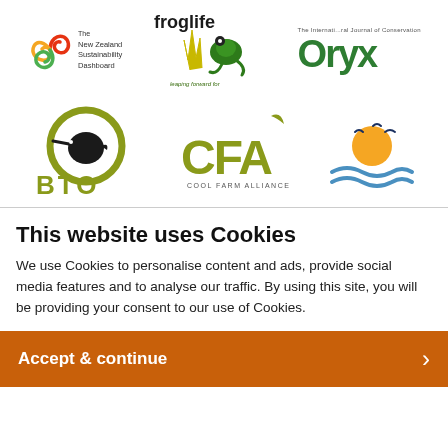[Figure (logo): The New Zealand Sustainability Dashboard logo - spiral icon with text]
[Figure (logo): Froglife logo - leaping forward for reptiles & amphibians]
[Figure (logo): Oryx journal logo - green bold text with tagline]
[Figure (logo): BTO (British Trust for Ornithology) logo - kiwi bird in green circle]
[Figure (logo): CFA Cool Farm Alliance logo - olive green letters]
[Figure (logo): Sun and water waves logo with birds]
This website uses Cookies
We use Cookies to personalise content and ads, provide social media features and to analyse our traffic. By using this site, you will be providing your consent to our use of Cookies.
Accept & continue